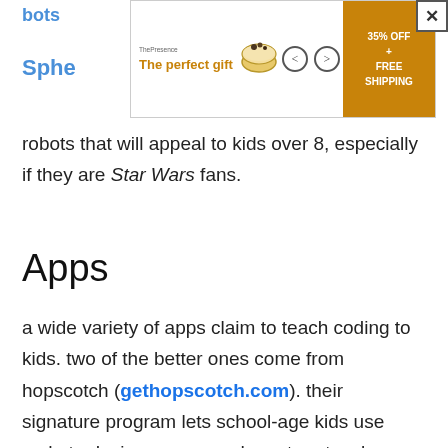[Figure (screenshot): Advertisement banner showing 'The perfect gift' with a bowl image, navigation arrows, and '35% OFF + FREE SHIPPING' call-to-action button, with a close (X) button in top right corner.]
robots that will appeal to kids over 8, especially if they are Star Wars fans.
Apps
a wide variety of apps claim to teach coding to kids. two of the better ones come from hopscotch (gethopscotch.com). their signature program lets school-age kids use code to design games and create artwork. a simpler program called daisy the dinosaur is available for preschoolers (free, apple